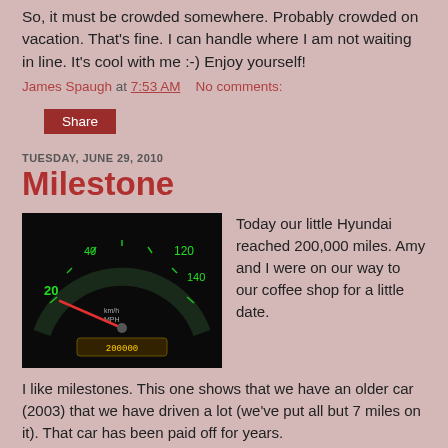So, it must be crowded somewhere. Probably crowded on vacation. That's fine. I can handle where I am not waiting in line. It's cool with me :-) Enjoy yourself!
James Spaugh at 7:53 AM   No comments:
Share
TUESDAY, JUNE 29, 2010
Milestone
[Figure (photo): Car speedometer showing approximately 200,000 miles, with green backlit gauges and a red needle pointing near zero speed.]
Today our little Hyundai reached 200,000 miles. Amy and I were on our way to our coffee shop for a little date.
I like milestones. This one shows that we have an older car (2003) that we have driven a lot (we've put all but 7 miles on it). That car has been paid off for years.
In fact, in May we purchased our first vehicle that we had the money to pay for in full (a 2005 Chevy Trailblazer 4WD).